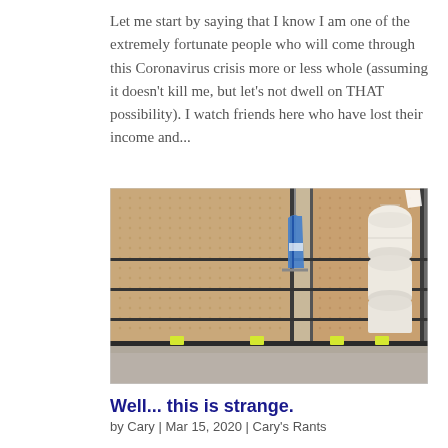Let me start by saying that I know I am one of the extremely fortunate people who will come through this Coronavirus crisis more or less whole (assuming it doesn't kill me, but let's not dwell on THAT possibility). I watch friends here who have lost their income and...
[Figure (photo): Empty store shelves in a retail store, mostly bare with a few toilet paper rolls visible on the far right. A lone item hangs from a hook in the middle section.]
Well... this is strange.
by Cary | Mar 15, 2020 | Cary's Rants